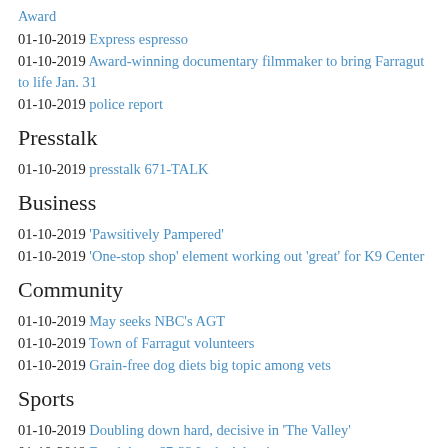Award
01-10-2019 Express espresso
01-10-2019 Award-winning documentary filmmaker to bring Farragut to life Jan. 31
01-10-2019 police report
Presstalk
01-10-2019 presstalk 671-TALK
Business
01-10-2019 ‘Pawsitively Pampered’
01-10-2019 ‘One-stop shop’ element working out ‘great’ for K9 Center
Community
01-10-2019 May seeks NBC’s AGT
01-10-2019 Town of Farragut volunteers
01-10-2019 Grain-free dog diets big topic among vets
Sports
01-10-2019 Doubling down hard, decisive in ‘The Valley’
01-10-2019 Depth keys 67-33 Lady Ads win